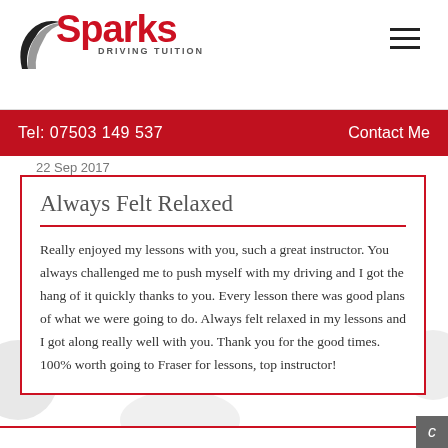Sparks Driving Tuition — Tel: 07503 149 537 | Contact Me
22 Sep 2017
Always Felt Relaxed
Really enjoyed my lessons with you, such a great instructor. You always challenged me to push myself with my driving and I got the hang of it quickly thanks to you. Every lesson there was good plans of what we were going to do. Always felt relaxed in my lessons and I got along really well with you. Thank you for the good times. 100% worth going to Fraser for lessons, top instructor!